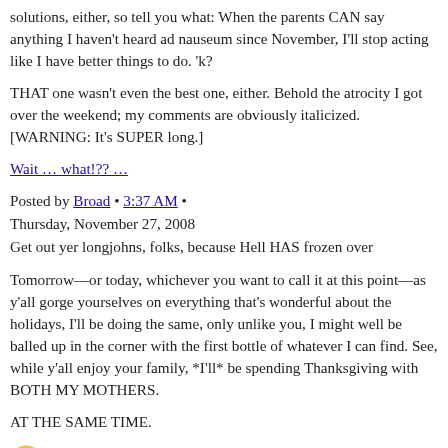solutions, either, so tell you what: When the parents CAN say anything I haven't heard ad nauseum since November, I'll stop acting like I have better things to do. 'k?
THAT one wasn't even the best one, either. Behold the atrocity I got over the weekend; my comments are obviously italicized. [WARNING: It's SUPER long.]
Wait … what!?? …
Posted by Broad • 3:37 AM •
Thursday, November 27, 2008
Get out yer longjohns, folks, because Hell HAS frozen over
Tomorrow—or today, whichever you want to call it at this point—as y'all gorge yourselves on everything that's wonderful about the holidays, I'll be doing the same, only unlike you, I might well be balled up in the corner with the first bottle of whatever I can find. See, while y'all enjoy your family, *I'll* be spending Thanksgiving with BOTH MY MOTHERS.
AT THE SAME TIME.
[Figure (other): Emoji: wide-eyed/surprised face emoticon 😳]